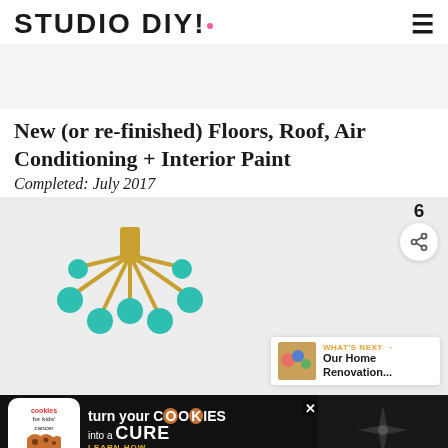STUDIO DIY!
[Figure (photo): Light gray banner/ad placeholder at top]
New (or re-finished) Floors, Roof, Air Conditioning + Interior Paint
Completed: July 2017
[Figure (photo): Photo of a teal/turquoise sputnik chandelier with gold arms against a white ceiling. Social share buttons and 'What's Next' box overlaid on right side.]
[Figure (infographic): Cookies for Kids' Cancer advertisement: 'turn your COOKIES into a CURE LEARN HOW']